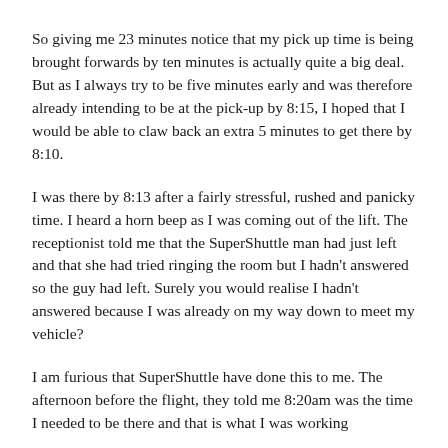So giving me 23 minutes notice that my pick up time is being brought forwards by ten minutes is actually quite a big deal. But as I always try to be five minutes early and was therefore already intending to be at the pick-up by 8:15, I hoped that I would be able to claw back an extra 5 minutes to get there by 8:10.
I was there by 8:13 after a fairly stressful, rushed and panicky time. I heard a horn beep as I was coming out of the lift. The receptionist told me that the SuperShuttle man had just left and that she had tried ringing the room but I hadn't answered so the guy had left. Surely you would realise I hadn't answered because I was already on my way down to meet my vehicle?
I am furious that SuperShuttle have done this to me. The afternoon before the flight, they told me 8:20am was the time I needed to be there and that is what I was working